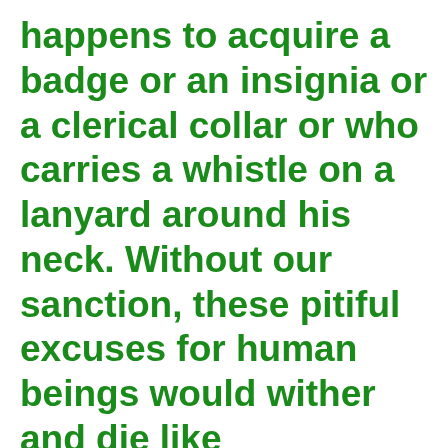happens to acquire a badge or an insignia or a clerical collar or who carries a whistle on a lanyard around his neck. Without our sanction, these pitiful excuses for human beings would wither and die like amphibians gasping for oxygen and water on the
This website uses cookies.
[Figure (other): Social sharing buttons bar: Twitter (blue), Gmail/Email (grey), Pinterest (red), LinkedIn (blue)]